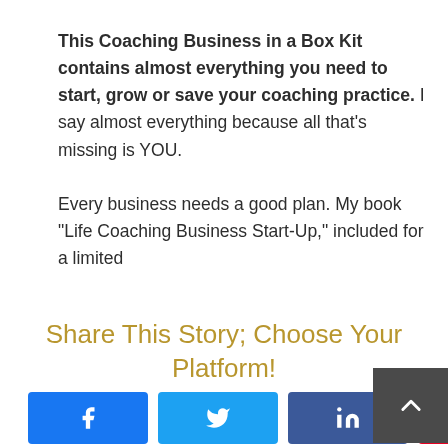This Coaching Business in a Box Kit contains almost everything you need to start, grow or save your coaching practice. I say almost everything because all that's missing is YOU.

Every business needs a good plan. My book “Life Coaching Business Start-Up,” included for a limited
Share This Story; Choose Your Platform!